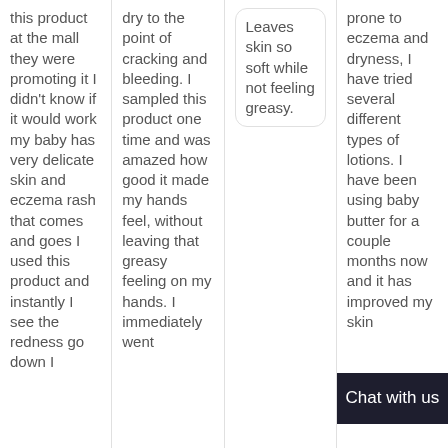this product at the mall they were promoting it I didn't know if it would work my baby has very delicate skin and eczema rash that comes and goes I used this product and instantly I see the redness go down I
dry to the point of cracking and bleeding. I sampled this product one time and was amazed how good it made my hands feel, without leaving that greasy feeling on my hands. I immediately went
Leaves skin so soft while not feeling greasy.
prone to eczema and dryness, I have tried several different types of lotions. I have been using baby butter for a couple months now and it has improved my skin
Chat with us